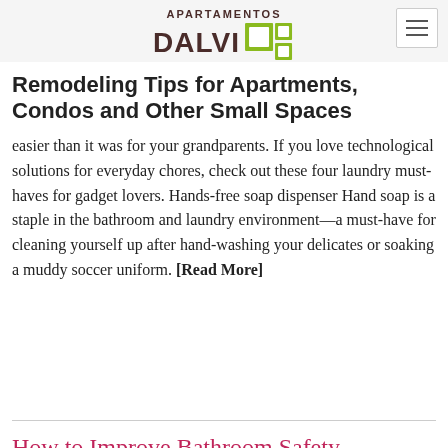APARTAMENTOS DALVI
Remodeling Tips for Apartments, Condos and Other Small Spaces
easier than it was for your grandparents. If you love technological solutions for everyday chores, check out these four laundry must-haves for gadget lovers. Hands-free soap dispenser Hand soap is a staple in the bathroom and laundry environment—a must-have for cleaning yourself up after hand-washing your delicates or soaking a muddy soccer uniform. [Read More]
How to Improve Bathroom Safety